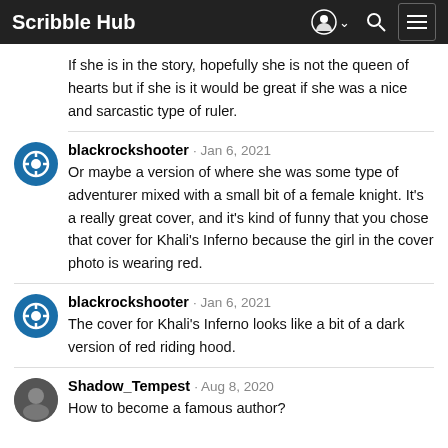Scribble Hub
If she is in the story, hopefully she is not the queen of hearts but if she is it would be great if she was a nice and sarcastic type of ruler.
blackrockshooter · Jan 6, 2021
Or maybe a version of where she was some type of adventurer mixed with a small bit of a female knight. It's a really great cover, and it's kind of funny that you chose that cover for Khali's Inferno because the girl in the cover photo is wearing red.
blackrockshooter · Jan 6, 2021
The cover for Khali's Inferno looks like a bit of a dark version of red riding hood.
Shadow_Tempest · Aug 8, 2020
How to become a famous author?